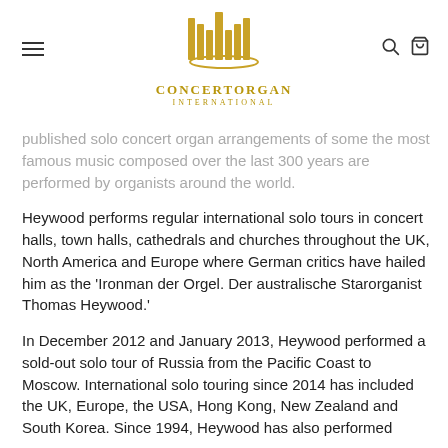ConcertOrgan International – navigation header with logo, hamburger menu, search and cart icons
published solo concert organ arrangements of some the most famous music composed over the last 300 years are performed by organists around the world.
Heywood performs regular international solo tours in concert halls, town halls, cathedrals and churches throughout the UK, North America and Europe where German critics have hailed him as the 'Ironman der Orgel. Der australische Starorganist Thomas Heywood.'
In December 2012 and January 2013, Heywood performed a sold-out solo tour of Russia from the Pacific Coast to Moscow. International solo touring since 2014 has included the UK, Europe, the USA, Hong Kong, New Zealand and South Korea. Since 1994, Heywood has also performed more concerts in Australia than any other organist: to date over 1,750 concerts to over 600,000 people.